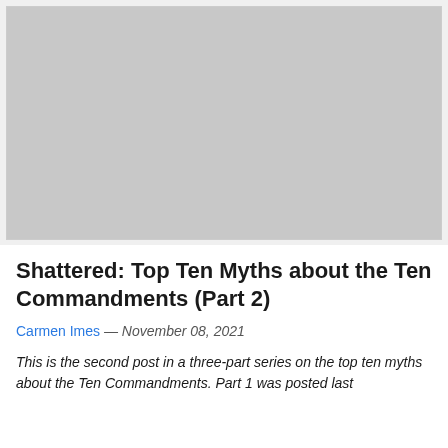[Figure (photo): Gray placeholder image area at the top of the article page]
Shattered: Top Ten Myths about the Ten Commandments (Part 2)
Carmen Imes — November 08, 2021
This is the second post in a three-part series on the top ten myths about the Ten Commandments. Part 1 was posted last week and Part 2 will be…